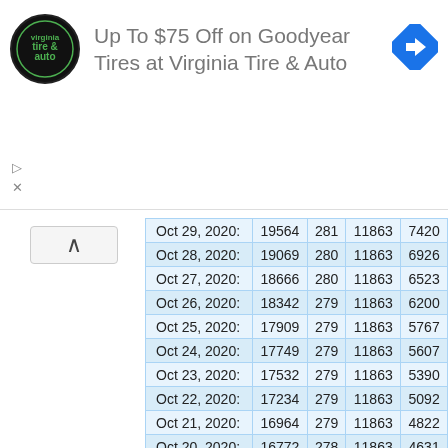[Figure (logo): Virginia Tire & Auto circular logo with green text and hand icon on black background]
Up To $75 Off on Goodyear Tires at Virginia Tire & Auto
| Date | Col1 | Col2 | Col3 | Col4 |
| --- | --- | --- | --- | --- |
| Oct 29, 2020: | 19564 | 281 | 11863 | 7420 |
| Oct 28, 2020: | 19069 | 280 | 11863 | 6926 |
| Oct 27, 2020: | 18666 | 280 | 11863 | 6523 |
| Oct 26, 2020: | 18342 | 279 | 11863 | 6200 |
| Oct 25, 2020: | 17909 | 279 | 11863 | 5767 |
| Oct 24, 2020: | 17749 | 279 | 11863 | 5607 |
| Oct 23, 2020: | 17532 | 279 | 11863 | 5390 |
| Oct 22, 2020: | 17234 | 279 | 11863 | 5092 |
| Oct 21, 2020: | 16964 | 279 | 11863 | 4822 |
| Oct 20, 2020: | 16772 | 278 | 11863 | 4631 |
| Oct 19, 2020: | 16603 | 278 | 11863 | 4462 |
| Oct 18, 2020: | 16457 | 278 | 11863 | 4316 |
| Oct 17, 2020: | 16369 | 278 | 11863 | 4228 |
| Oct 16, 2020: | 16272 | 278 | 11863 | 4131 |
| Oct 15, 2020: | 16137 | 278 | 11863 | 3996 |
| Oct 14, 2020: | 15953 | 277 | 11863 | 3813 |
| Oct 13, 2020: | 15793 | 277 | 11863 | 3653 |
| Oct 12, 2020: | 15639 | 276 | 11863 | 3500 |